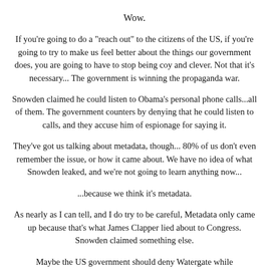Wow.
If you're going to do a "reach out" to the citizens of the US, if you're going to try to make us feel better about the things our government does, you are going to have to stop being coy and clever. Not that it's necessary... The government is winning the propaganda war.
Snowden claimed he could listen to Obama's personal phone calls...all of them. The government counters by denying that he could listen to calls, and they accuse him of espionage for saying it.
They've got us talking about metadata, though... 80% of us don't even remember the issue, or how it came about. We have no idea of what Snowden leaked, and we're not going to learn anything now...
...because we think it's metadata.
As nearly as I can tell, and I do try to be careful, Metadata only came up because that's what James Clapper lied about to Congress. Snowden claimed something else.
Maybe the US government should deny Watergate while